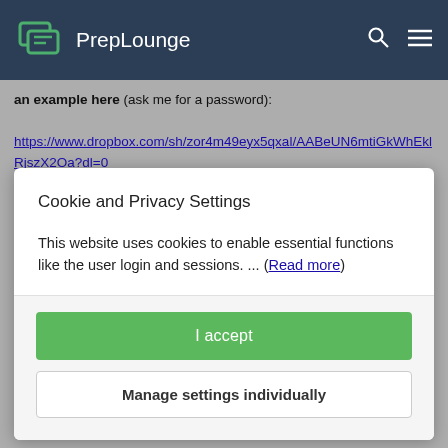PrepLounge
an example here (ask me for a password):
https://www.dropbox.com/sh/zor4m49eyx5qxal/AABeUN6mtiGkWhEklRjszX2Oa?dl=0
Cookie and Privacy Settings
This website uses cookies to enable essential functions like the user login and sessions. ... (Read more)
I accept
Manage settings individually